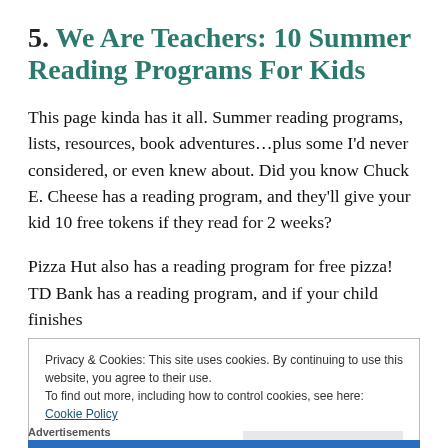5. We Are Teachers: 10 Summer Reading Programs For Kids
This page kinda has it all. Summer reading programs, lists, resources, book adventures…plus some I'd never considered, or even knew about. Did you know Chuck E. Cheese has a reading program, and they'll give your kid 10 free tokens if they read for 2 weeks?
Pizza Hut also has a reading program for free pizza! TD Bank has a reading program, and if your child finishes
Privacy & Cookies: This site uses cookies. By continuing to use this website, you agree to their use.
To find out more, including how to control cookies, see here: Cookie Policy
Close and accept
Advertisements